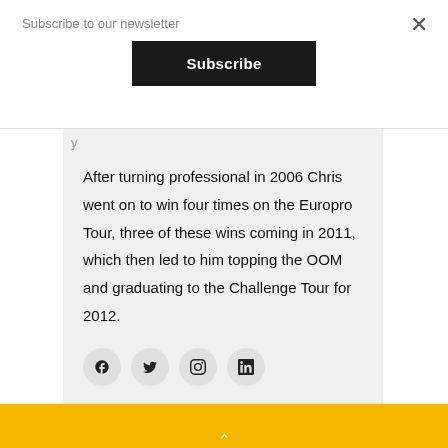Subscribe to our newsletter
Subscribe
After turning professional in 2006 Chris went on to win four times on the Europro Tour, three of these wins coming in 2011, which then led to him topping the OOM and graduating to the Challenge Tour for 2012.
^